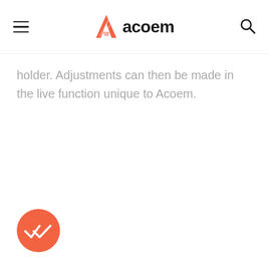acoem
holder. Adjustments can then be made in the live function unique to Acoem.
[Figure (illustration): Orange circular FAB button with a double checkmark / play icon in white]